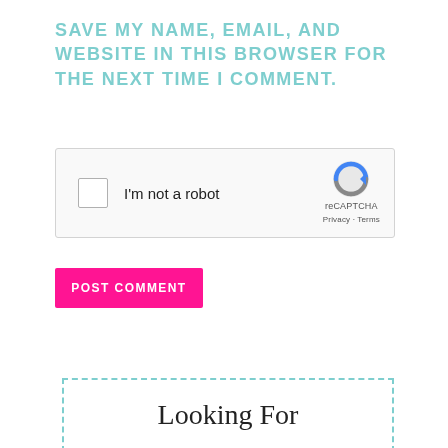SAVE MY NAME, EMAIL, AND WEBSITE IN THIS BROWSER FOR THE NEXT TIME I COMMENT.
[Figure (other): reCAPTCHA widget with checkbox labeled 'I'm not a robot' and reCAPTCHA logo with Privacy and Terms links]
POST COMMENT
Looking For